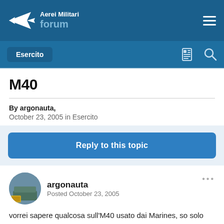Aerei Militari forum
M40
By argonauta,
October 23, 2005 in Esercito
Reply to this topic
argonauta
Posted October 23, 2005
vorrei sapere qualcosa sull'M40 usato dai Marines, so solo che è derivato dal Remington 700